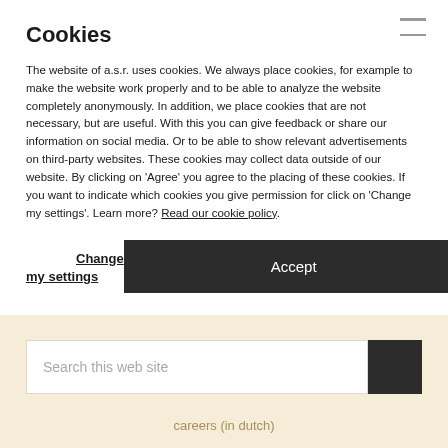Cookies
The website of a.s.r. uses cookies. We always place cookies, for example to make the website work properly and to be able to analyze the website completely anonymously. In addition, we place cookies that are not necessary, but are useful. With this you can give feedback or share our information on social media. Or to be able to show relevant advertisements on third-party websites. These cookies may collect data outside of our website. By clicking on 'Agree' you agree to the placing of these cookies. If you want to indicate which cookies you give permission for click on 'Change my settings'. Learn more? Read our cookie policy.
Change my settings
Accept
Search this web site
careers (in dutch)